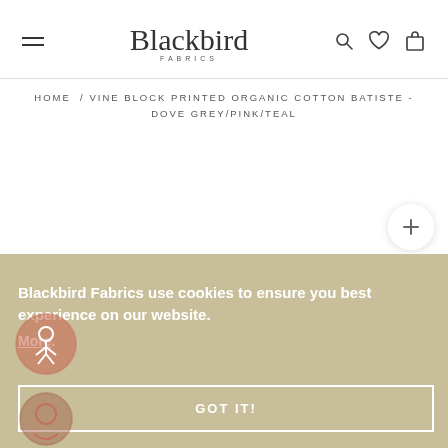Blackbird Fabrics
HOME / VINE BLOCK PRINTED ORGANIC COTTON BATISTE - DOVE GREY/PINK/TEAL
Blackbird Fabrics use cookies to ensure you best experience on our website. More
GOT IT!